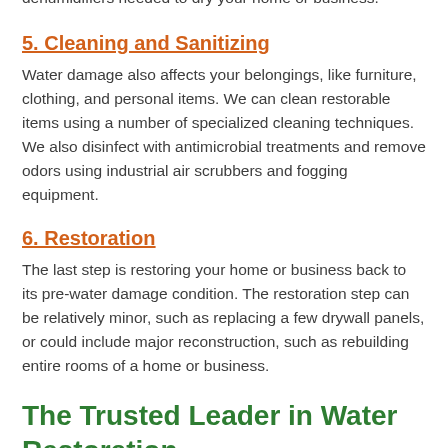determine the optimal number of air movers and dehumidifiers needed to dry your home or business.
5. Cleaning and Sanitizing
Water damage also affects your belongings, like furniture, clothing, and personal items. We can clean restorable items using a number of specialized cleaning techniques. We also disinfect with antimicrobial treatments and remove odors using industrial air scrubbers and fogging equipment.
6. Restoration
The last step is restoring your home or business back to its pre-water damage condition. The restoration step can be relatively minor, such as replacing a few drywall panels, or could include major reconstruction, such as rebuilding entire rooms of a home or business.
The Trusted Leader in Water Restoration
SERVPRO of Sumter understands your water crisis and is